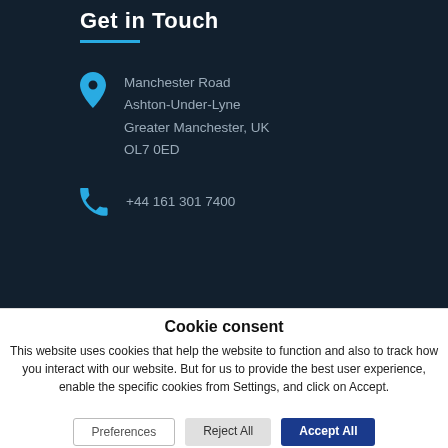Get in Touch
Manchester Road
Ashton-Under-Lyne
Greater Manchester, UK
OL7 0ED
+44 161 301 7400
Cookie consent
This website uses cookies that help the website to function and also to track how you interact with our website. But for us to provide the best user experience, enable the specific cookies from Settings, and click on Accept.
Preferences  Reject All  Accept All